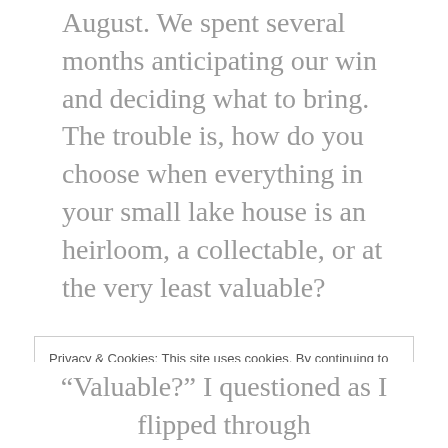August. We spent several months anticipating our win and deciding what to bring.   The trouble is, how do you choose when everything in your small lake house is an heirloom, a collectable, or at the very least valuable?
Contemplating about what was truly valuable forced us to look at what wasn't: almost everything. I also saw this as an opportunity to clean the house. Whenever I try to throw anything away a family member accosts me.
Privacy & Cookies: This site uses cookies. By continuing to use this website, you agree to their use.
To find out more, including how to control cookies, see here: Cookie Policy
Close and accept
“Valuable?” I questioned as I flipped through